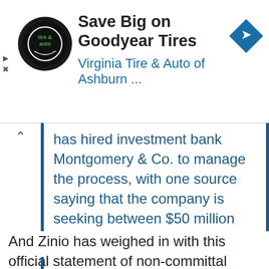[Figure (other): Advertisement banner for Virginia Tire & Auto of Ashburn featuring Goodyear Tires, with circular logo and blue navigation diamond icon]
has hired investment bank Montgomery & Co. to manage the process, with one source saying that the company is seeking between $50 million and $100 million. No idea yet if there is buy-side interest at that price.
And Zinio has weighed in with this official statement of non-committal corporate doublespeak: